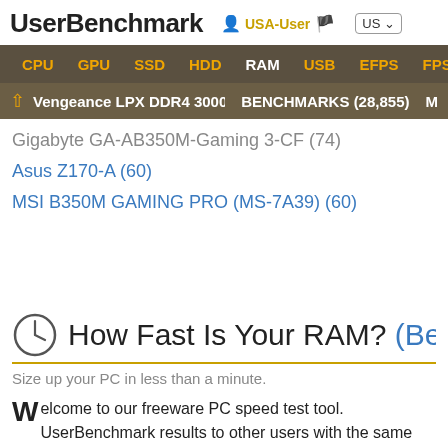UserBenchmark  USA-User  US
CPU  GPU  SSD  HDD  RAM  USB  EFPS  FPS  SK
↑ Vengeance LPX DDR4 3000 C15 ...  BENCHMARKS (28,855)  M
Gigabyte GA-AB350M-Gaming 3-CF (74)
Asus Z170-A (60)
MSI B350M GAMING PRO (MS-7A39) (60)
How Fast Is Your RAM? (Bench yo
Size up your PC in less than a minute.
Welcome to our freeware PC speed test tool. UserBenchmark results to other users with the same components. You can quic hardware problems and explore the best upgrades.